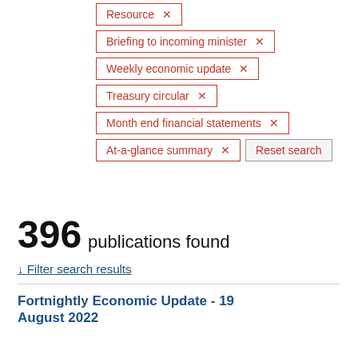Resource ×
Briefing to incoming minister ×
Weekly economic update ×
Treasury circular ×
Month end financial statements ×
At-a-glance summary ×
Reset search
396 publications found
↓ Filter search results
Fortnightly Economic Update - 19 August 2022